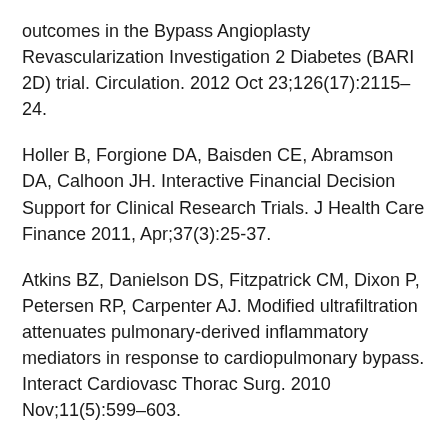outcomes in the Bypass Angioplasty Revascularization Investigation 2 Diabetes (BARI 2D) trial. Circulation. 2012 Oct 23;126(17):2115–24.
Holler B, Forgione DA, Baisden CE, Abramson DA, Calhoon JH. Interactive Financial Decision Support for Clinical Research Trials. J Health Care Finance 2011, Apr;37(3):25-37.
Atkins BZ, Danielson DS, Fitzpatrick CM, Dixon P, Petersen RP, Carpenter AJ. Modified ultrafiltration attenuates pulmonary-derived inflammatory mediators in response to cardiopulmonary bypass. Interact Cardiovasc Thorac Surg. 2010 Nov;11(5):599–603.
Woodward CS, Son MG, Calhoon JH, Michalek JE, Husain SA. Sternal wound infections in pediatric congenital cardiac surgery: a survey of incidence and preventative